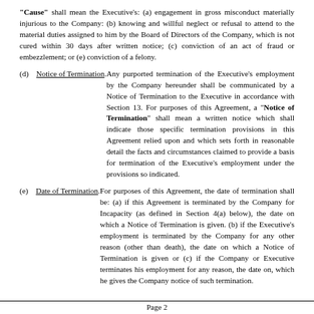"Cause" shall mean the Executive's: (a) engagement in gross misconduct materially injurious to the Company: (b) knowing and willful neglect or refusal to attend to the material duties assigned to him by the Board of Directors of the Company, which is not cured within 30 days after written notice; (c) conviction of an act of fraud or embezzlement; or (e) conviction of a felony.
(d) Notice of Termination. Any purported termination of the Executive's employment by the Company hereunder shall be communicated by a Notice of Termination to the Executive in accordance with Section 13. For purposes of this Agreement, a "Notice of Termination" shall mean a written notice which shall indicate those specific termination provisions in this Agreement relied upon and which sets forth in reasonable detail the facts and circumstances claimed to provide a basis for termination of the Executive's employment under the provisions so indicated.
(e) Date of Termination. For purposes of this Agreement, the date of termination shall be: (a) if this Agreement is terminated by the Company for Incapacity (as defined in Section 4(a) below), the date on which a Notice of Termination is given. (b) if the Executive's employment is terminated by the Company for any other reason (other than death), the date on which a Notice of Termination is given or (c) if the Company or Executive terminates his employment for any reason, the date on, which he gives the Company notice of such termination.
Page 2